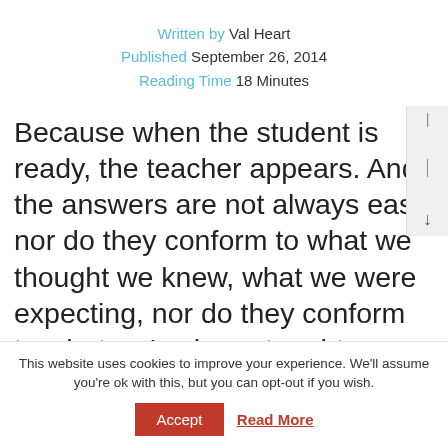Written by Val Heart
Published September 26, 2014
Reading Time 18 Minutes
Because when the student is ready, the teacher appears. And the answers are not always easy, nor do they conform to what we thought we knew, what we were expecting, nor do they conform to what we've been taught or what we had accepted before or told was true.
This website uses cookies to improve your experience. We'll assume you're ok with this, but you can opt-out if you wish.
Accept  Read More